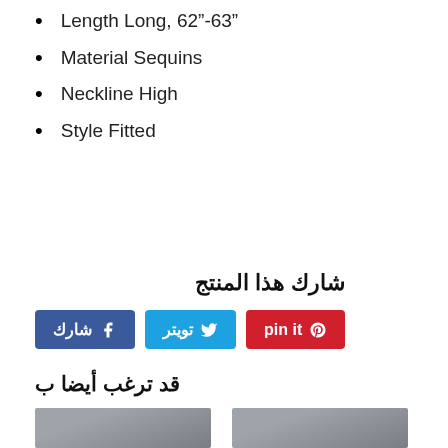Length Long, 62"-63"
Material Sequins
Neckline High
Style Fitted
شارك هذا المنتج
شارك  تويتر  pin it
قد ترغب أيضا ب
[Figure (photo): Two product photos of women in dresses on grey background]